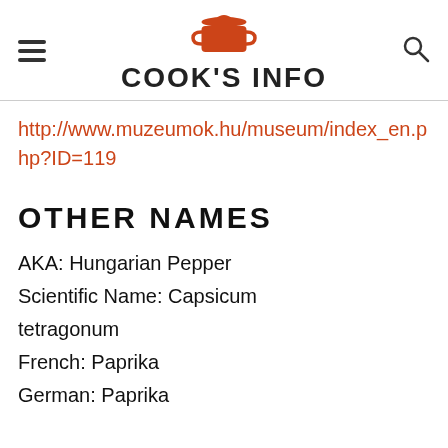COOK'S INFO
http://www.muzeumok.hu/museum/index_en.php?ID=119
OTHER NAMES
AKA: Hungarian Pepper
Scientific Name: Capsicum tetragonum
French: Paprika
German: Paprika